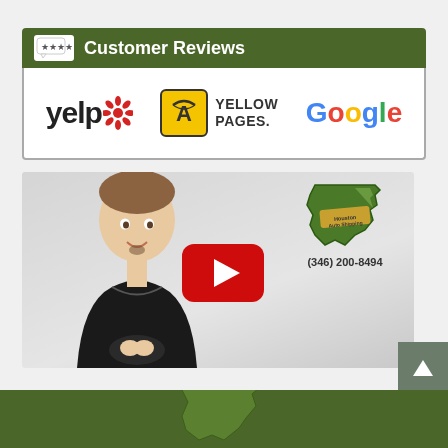Customer Reviews
[Figure (logo): Yelp logo, Yellow Pages logo, Google logo in a white banner]
[Figure (screenshot): Video thumbnail showing a man in black shirt with YouTube play button and Houston Auto Shipping logo with phone number (346) 200-8494]
[Figure (illustration): Partial green Texas state shape at bottom of page]